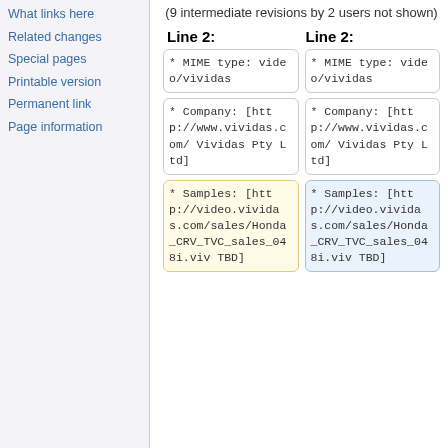What links here
Related changes
Special pages
Printable version
Permanent link
Page information
(9 intermediate revisions by 2 users not shown)
Line 2:
Line 2:
* MIME type: video/vividas
* MIME type: video/vividas
* Company: [http://www.vividas.com/ Vividas Pty Ltd]
* Company: [http://www.vividas.com/ Vividas Pty Ltd]
* Samples: [http://video.vividas.com/sales/Honda_CRV_TVC_sales_048i.viv TBD]
* Samples: [http://video.vividas.com/sales/Honda_CRV_TVC_sales_048i.viv TBD]